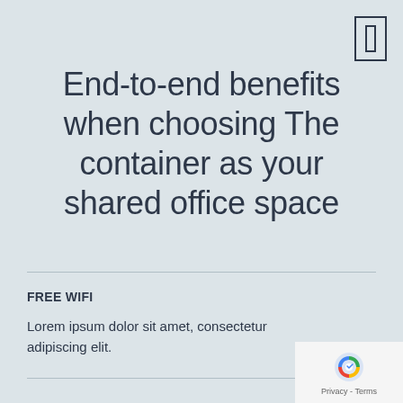[Figure (other): Small rectangular icon resembling a card/badge in the top right corner]
End-to-end benefits when choosing The container as your shared office space
FREE WIFI
Lorem ipsum dolor sit amet, consectetur adipiscing elit.
[Figure (logo): Google reCAPTCHA logo with Privacy and Terms text]